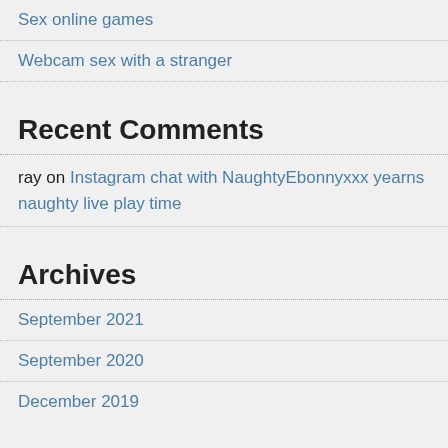Sex online games
Webcam sex with a stranger
Recent Comments
ray on Instagram chat with NaughtyEbonnyxxx yearns naughty live play time
Archives
September 2021
September 2020
December 2019